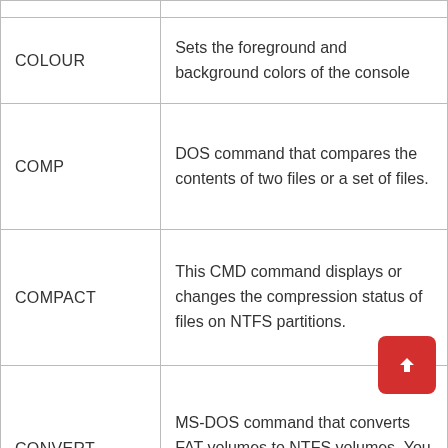| Command | Description |
| --- | --- |
| COLOUR | Sets the foreground and background colors of the console |
| COMP | DOS command that compares the contents of two files or a set of files. |
| COMPACT | This CMD command displays or changes the compression status of files on NTFS partitions. |
| CONVERT | MS-DOS command that converts FAT volumes to NTFS volumes. You can not convert the current unity. |
| (COPY) | Copy one or more files to another |